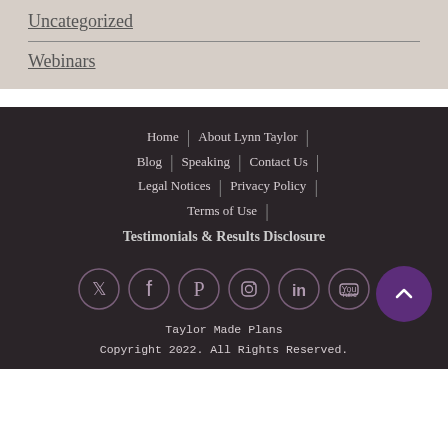Uncategorized
Webinars
Home | About Lynn Taylor | Blog | Speaking | Contact Us | Legal Notices | Privacy Policy | Terms of Use | Testimonials & Results Disclosure
Taylor Made Plans
Copyright 2022. All Rights Reserved.